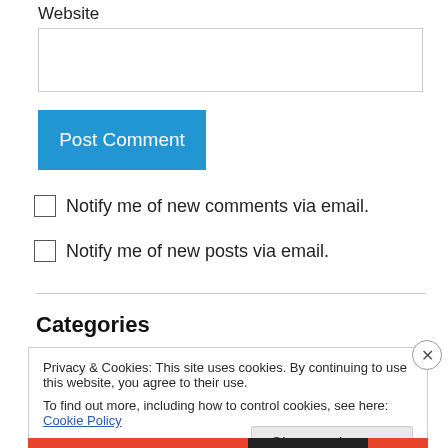Website
[Figure (screenshot): Empty website text input field]
[Figure (screenshot): Blue Post Comment button]
Notify me of new comments via email.
Notify me of new posts via email.
Categories
Privacy & Cookies: This site uses cookies. By continuing to use this website, you agree to their use.
To find out more, including how to control cookies, see here: Cookie Policy
Close and accept